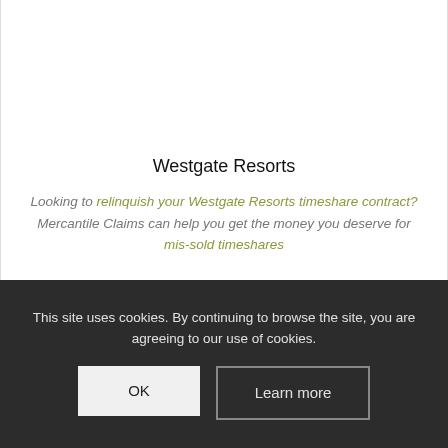Westgate Resorts
Looking to relinquish your Westgate Resorts timeshare contract? Mercantile Claims can help you get the money you deserve for mis-sold timeshares
This site uses cookies. By continuing to browse the site, you are agreeing to our use of cookies.